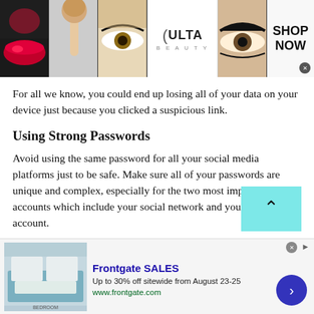[Figure (screenshot): Ulta Beauty advertisement banner with makeup photos and shop now button]
For all we know, you could end up losing all of your data on your device just because you clicked a suspicious link.
Using Strong Passwords
Avoid using the same password for all your social media platforms just to be safe. Make sure all of your passwords are unique and complex, especially for the two most important accounts which include your social network and your email account.
[Figure (screenshot): Frontgate SALES advertisement: Up to 30% off sitewide from August 23-25, www.frontgate.com]